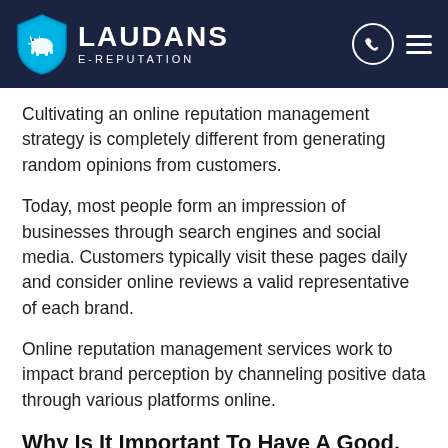LAUDANS E-REPUTATION
Cultivating an online reputation management strategy is completely different from generating random opinions from customers.
Today, most people form an impression of businesses through search engines and social media. Customers typically visit these pages daily and consider online reviews a valid representative of each brand.
Online reputation management services work to impact brand perception by channeling positive data through various platforms online.
Why Is It Important To Have A Good, Proactive Reputation Management